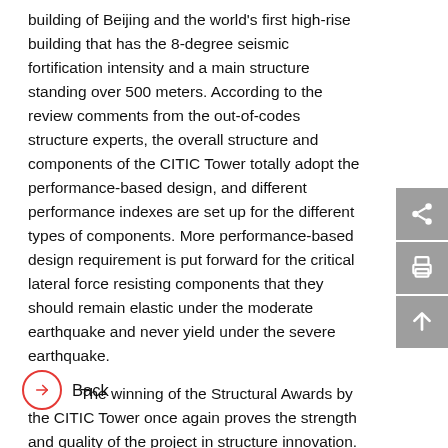building of Beijing and the world's first high-rise building that has the 8-degree seismic fortification intensity and a main structure standing over 500 meters. According to the review comments from the out-of-codes structure experts, the overall structure and components of the CITIC Tower totally adopt the performance-based design, and different performance indexes are set up for the different types of components. More performance-based design requirement is put forward for the critical lateral force resisting components that they should remain elastic under the moderate earthquake and never yield under the severe earthquake.
The winning of the Structural Awards by the CITIC Tower once again proves the strength and quality of the project in structure innovation.